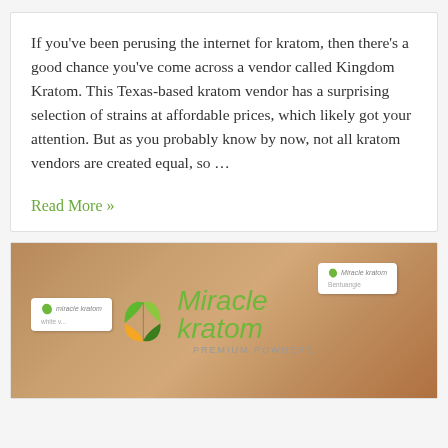If you've been perusing the internet for kratom, then there's a good chance you've come across a vendor called Kingdom Kratom. This Texas-based kratom vendor has a surprising selection of strains at affordable prices, which likely got your attention. But as you probably know by now, not all kratom vendors are created equal, so …
Read More »
[Figure (photo): Miracle Kratom Premium Powders logo on a brown/tan background with white product labels visible]